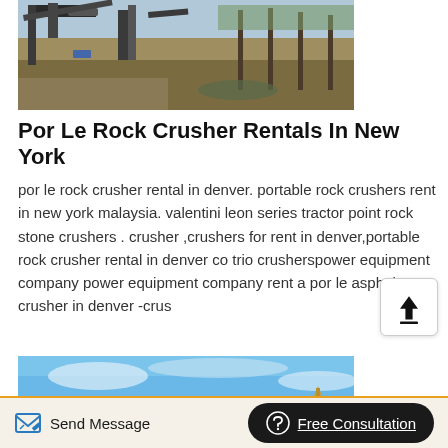[Figure (photo): Industrial rock crusher machinery at an outdoor site with dry grass and metal structures in the background]
Por Le Rock Crusher Rentals In New York
por le rock crusher rental in denver. portable rock crushers rent in new york malaysia. valentini leon series tractor point rock stone crushers . crusher ,crushers for rent in denver,portable rock crusher rental in denver co trio crusherspower equipment company power equipment company rent a por le asphalt crusher in denver -crus
[Figure (photo): Outdoor scene with blue sky and light clouds, possibly a quarry or construction site]
Send Message   Free Consultation